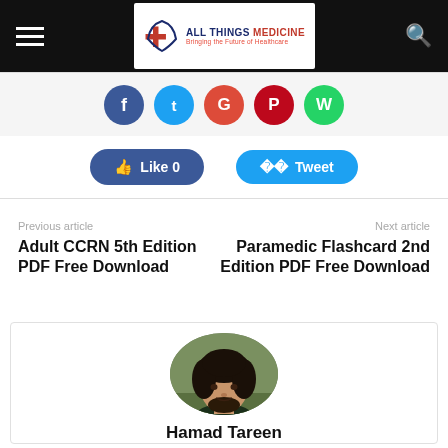All Things Medicine — Bringing the Future of Healthcare
[Figure (screenshot): Social share icons: Facebook, Twitter, Google+, Pinterest, WhatsApp]
[Figure (infographic): Like 0 and Tweet buttons]
Previous article: Adult CCRN 5th Edition PDF Free Download
Next article: Paramedic Flashcard 2nd Edition PDF Free Download
[Figure (photo): Author photo of Hamad Tareen — young man with dark hair and beard, wearing dark shirt, outdoor background]
Hamad Tareen